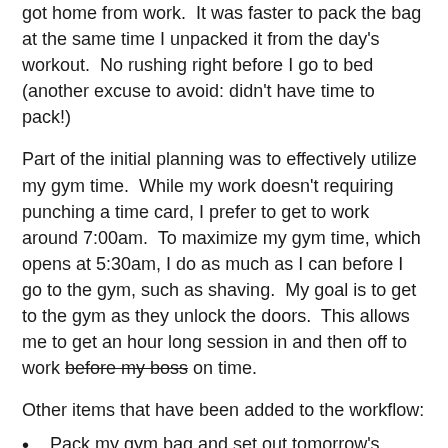got home from work.  It was faster to pack the bag at the same time I unpacked it from the day's workout.  No rushing right before I go to bed (another excuse to avoid: didn't have time to pack!)
Part of the initial planning was to effectively utilize my gym time.  While my work doesn't requiring punching a time card, I prefer to get to work around 7:00am.  To maximize my gym time, which opens at 5:30am, I do as much as I can before I go to the gym, such as shaving.  My goal is to get to the gym as they unlock the doors.  This allows me to get an hour long session in and then off to work before my boss on time.
Other items that have been added to the workflow:
Pack my gym bag and set out tomorrow's clothes while I'm unpacking the gym bag.  This alleviates another often used excuse:  I ran out of time to pack my gym bag because it's bedtime!
Pack tomorrow's lunch after I've packed the gym bag
Prep my breakfast before bedtime (which used to